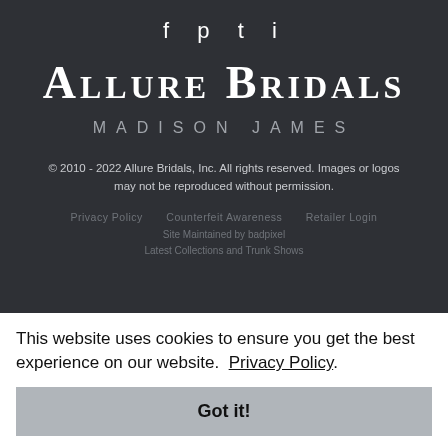[Figure (logo): Social media icons: Facebook, Pinterest, Twitter, Instagram]
Allure Bridals
MADISON JAMES
© 2010 - 2022 Allure Bridals, Inc. All rights reserved. Images or logos may not be reproduced without permission.
Privacy Policy   Counterfeit Awareness   Retailer Login
Site Maintained by badpixel
Latest Collections and Trunk Shows
This website uses cookies to ensure you get the best experience on our website.  Privacy Policy.
Got it!